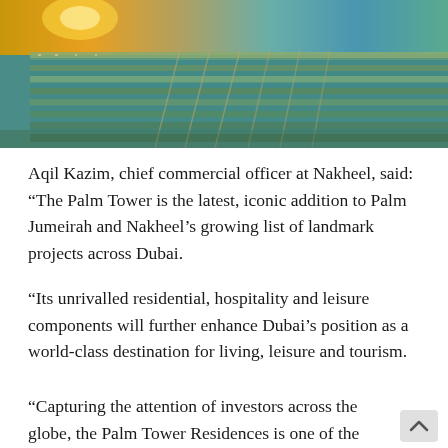[Figure (photo): Aerial photograph of Palm Jumeirah, Dubai, showing the palm-shaped island development with canals, waterways and buildings at sunset/golden hour, viewed from above.]
Aqil Kazim, chief commercial officer at Nakheel, said: “The Palm Tower is the latest, iconic addition to Palm Jumeirah and Nakheel’s growing list of landmark projects across Dubai.
“Its unrivalled residential, hospitality and leisure components will further enhance Dubai’s position as a world-class destination for living, leisure and tourism.
“Capturing the attention of investors across the globe, the Palm Tower Residences is one of the most sought-after addresses in the region, offering the ultimate in high-rise living, with a host of amenities within the complex,